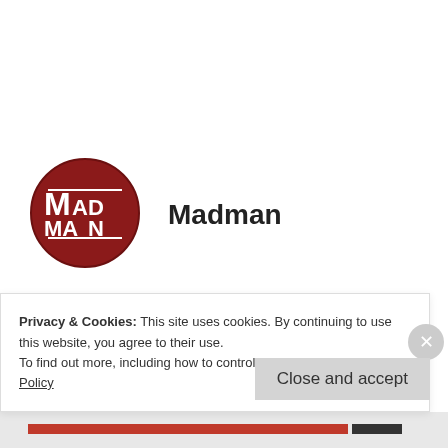[Figure (logo): Madman circular logo with red background and white text reading MAD MAN]
Madman
DECEMBER 13, 2011 AT 11:30 AM
Flying high and lovely flowers, a sweet combination for a successful Celebration! Thanks for sharing your photos with the rest of us!
Privacy & Cookies: This site uses cookies. By continuing to use this website, you agree to their use.
To find out more, including how to control cookies, see here: Cookie Policy
Close and accept